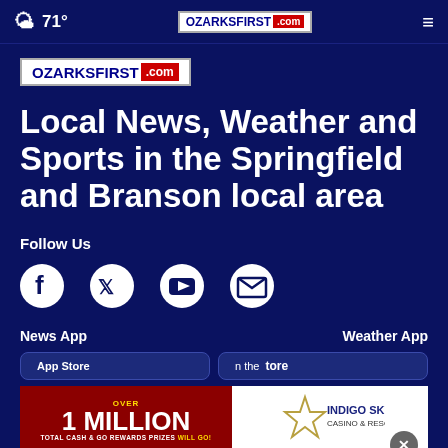71° | OZARKSFIRST.com | ≡
[Figure (logo): OzarksFirst.com logo — white background with border, OZARKS in dark blue, FIRST in dark blue, .com in red badge]
Local News, Weather and Sports in the Springfield and Branson local area
Follow Us
[Figure (infographic): Social media follow icons: Facebook, Twitter, YouTube, Email]
News App
Weather App
[Figure (screenshot): App store buttons for Apple App Store and Google Play for News App and Weather App, with advertisement overlay: OVER 1 MILLION TOTAL CASH & GO REWARDS PRIZES WILL GO! and Indigo Sky Casino & Resort logo]